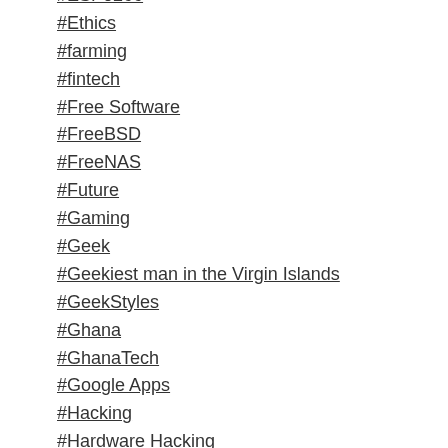#ESP8266
#Ethics
#farming
#fintech
#Free Software
#FreeBSD
#FreeNAS
#Future
#Gaming
#Geek
#Geekiest man in the Virgin Islands
#GeekStyles
#Ghana
#GhanaTech
#Google Apps
#Hacking
#Hardware Hacking
#infosec
#Infrastructure